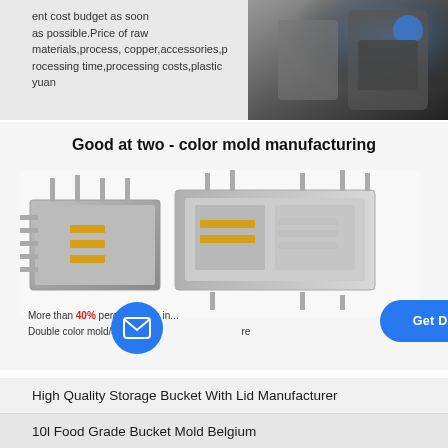ent cost budget as soon as possible. Price of raw materials, process, copper, accessories, processing time, processing costs, plastic yuan
[Figure (photo): Industrial machinery equipment photo, dark metallic tones with blue highlights]
Good at two - color mold manufacturing
[Figure (photo): Two-color injection mold manufacturing equipment showing metallic mold components with yellow and silver parts]
More than 40% percent of the in... Double color mold/insert m... re
[Figure (other): Get Detailed Info button (blue rounded rectangle with arrow) and mail icon circle]
High Quality Storage Bucket With Lid Manufacturer
10l Food Grade Bucket Mold Belgium
Garbage Bin Blowing Mold Albania